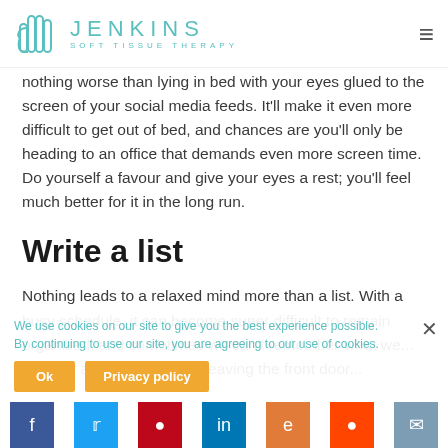[Figure (logo): Jenkins Soft Tissue Therapy logo with hand icon and teal text]
nothing worse than lying in bed with your eyes glued to the screen of your social media feeds. It'll make it even more difficult to get out of bed, and chances are you'll only be heading to an office that demands even more screen time. Do yourself a favour and give your eyes a rest; you'll feel much better for it in the long run.
Write a list
Nothing leads to a relaxed mind more than a list. With a busy schedule, it can become super difficult to remain organised, and sometimes we can't remember what we... yourself a to-do list before leaving the front door...
We use cookies on our site to give you the best experience possible. By continuing to use our site, you are agreeing to our use of cookies.